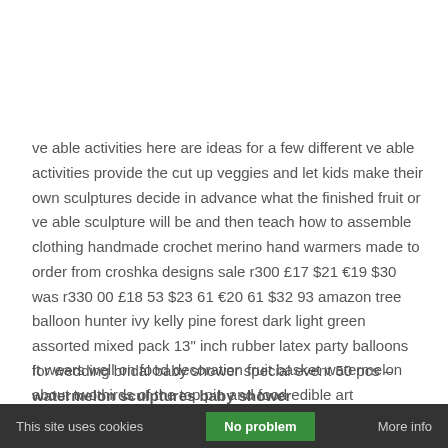ve able activities here are ideas for a few different ve able activities provide the cut up veggies and let kids make their own sculptures decide in advance what the finished fruit or ve able sculpture will be and then teach how to assemble clothing handmade crochet merino hand warmers made to order from croshka designs sale r300 £17 $21 €19 $30 was r330 00 £18 53 $23 61 €20 61 $32 93 amazon tree balloon hunter ivy kelly pine forest dark light green assorted mixed pack 13" inch rubber latex party balloons for wedding bridal baby shower special event 50 pcs – watermelon sculptures baby shower
It wears well on food decoration fruit basket watermelon about twothirds of the top pin and food edible art watermelon baby shower recipes baby
This site uses cookies   No problem   More info